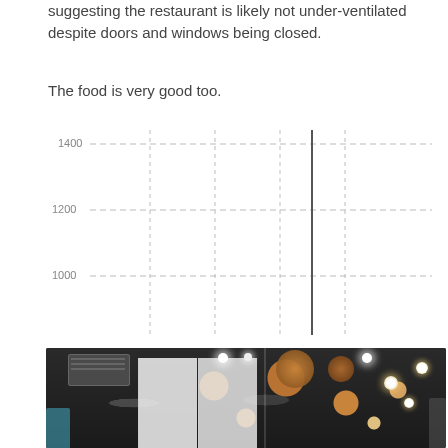suggesting the restaurant is likely not under-ventilated despite doors and windows being closed.
The food is very good too.
[Figure (continuous-plot): Partial time-series chart showing CO2 or similar sensor readings with y-axis values 1000, 1200, 1400 visible. A dark vertical line marks a specific point in time. Dashed gridlines on both axes. The chart is cropped at the top.]
[Figure (photo): Interior photo of a restaurant with dark ceiling, decorative pendant lights (round woven and globe-style bulbs), white curtain dividers, and a ceiling HVAC vent visible.]